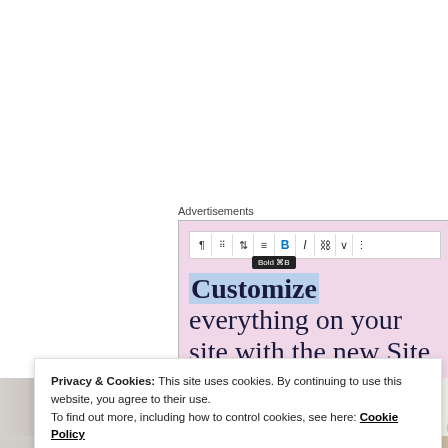Advertisements
[Figure (screenshot): WordPress site editor screenshot showing a toolbar with Bold (⌘B) tooltip active, and text reading 'Customize everything on your site with the new Site Editor.' on a pink background. The word 'Customize' is highlighted in blue.]
[Figure (photo): Partial nature/rock texture photo strip visible behind cookie consent banner]
Privacy & Cookies: This site uses cookies. By continuing to use this website, you agree to their use.
To find out more, including how to control cookies, see here: Cookie Policy
Close and accept